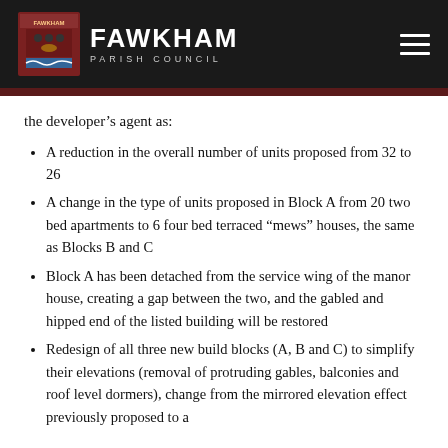FAWKHAM PARISH COUNCIL
the developer's agent as:
A reduction in the overall number of units proposed from 32 to 26
A change in the type of units proposed in Block A from 20 two bed apartments to 6 four bed terraced “mews” houses, the same as Blocks B and C
Block A has been detached from the service wing of the manor house, creating a gap between the two, and the gabled and hipped end of the listed building will be restored
Redesign of all three new build blocks (A, B and C) to simplify their elevations (removal of protruding gables, balconies and roof level dormers), change from the mirrored elevation effect previously proposed to a